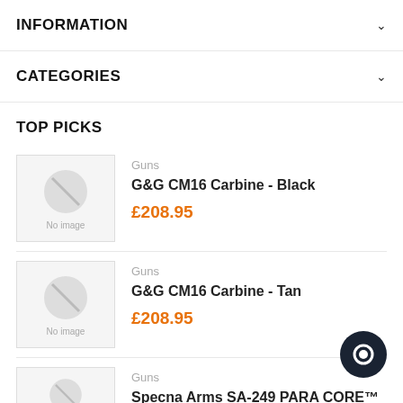INFORMATION
CATEGORIES
TOP PICKS
Guns | G&G CM16 Carbine - Black | £208.95
Guns | G&G CM16 Carbine - Tan | £208.95
Guns | Specna Arms SA-249 PARA CORE™